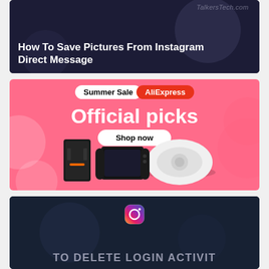[Figure (screenshot): Dark themed blog post thumbnail showing 'How To Save Pictures From Instagram Direct Message' with TalkersTech.com watermark]
[Figure (infographic): AliExpress Summer Sale advertisement banner with pink background showing 'Official picks' and 'Shop now' button with electronics products including robot vacuum, gaming console and Nintendo Switch]
[Figure (screenshot): Dark themed blog post thumbnail showing Instagram logo and 'TO DELETE LOGIN ACTIVIT' text]